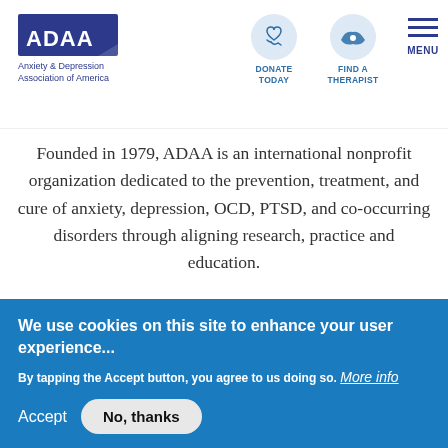[Figure (logo): ADAA logo - blue rectangle with white text ADAA, tagline Anxiety & Depression Association of America below in blue text]
[Figure (infographic): Navigation icons: DONATE TODAY (hand with heart icon), FIND A THERAPIST (US map icon), MENU (three horizontal lines)]
Founded in 1979, ADAA is an international nonprofit organization dedicated to the prevention, treatment, and cure of anxiety, depression, OCD, PTSD, and co-occurring disorders through aligning research, practice and education.
[Figure (logo): Three certification/membership badges: American Brain Coalition Nonprofit Member Since 1999, GuideStar Platinum Participant, CFC (Combined Federal Campaign) star logo]
We use cookies on this site to enhance your user experience...
By tapping the Accept button, you agree to us doing so. More info
Accept   No, thanks